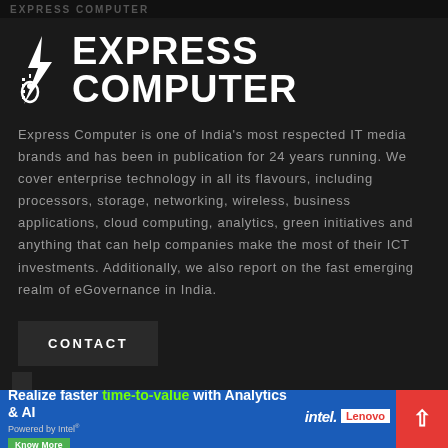EXPRESS COMPUTER
[Figure (logo): Express Computer logo with pen/bolt icon and bold white text on dark background]
Express Computer is one of India's most respected IT media brands and has been in publication for 24 years running. We cover enterprise technology in all its flavours, including processors, storage, networking, wireless, business applications, cloud computing, analytics, green initiatives and anything that can help companies make the most of their ICT investments. Additionally, we also report on the fast emerging realm of eGovernance in India.
CONTACT
[Figure (infographic): Advertisement banner: Realize faster time-to-value with Analytics & AI. Powered by Intel. Know More. Intel and Lenovo logos visible on right side.]